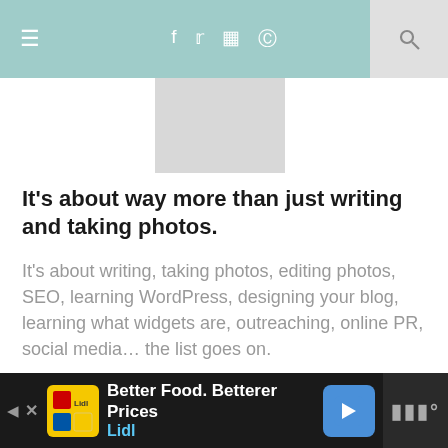≡  f  𝕏  ⊡  ℗  🔍
[Figure (photo): Gray image placeholder rectangle]
It's about way more than just writing and taking photos.
It's about writing, taking photos, editing photos, SEO, learning WordPress, designing your blog, learning what widgets are, outreaching, online PR, social media… the list goes on.
Learn from others around you.
I mentioned above, a couple of ladies I
Better Food. Betterer Prices Lidl